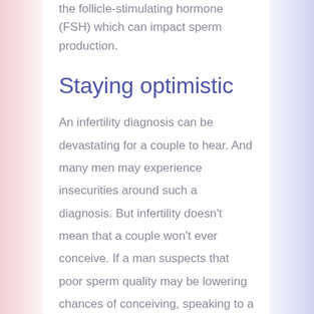the follicle-stimulating hormone (FSH) which can impact sperm production.
Staying optimistic
An infertility diagnosis can be devastating for a couple to hear. And many men may experience insecurities around such a diagnosis. But infertility doesn't mean that a couple won't ever conceive. If a man suspects that poor sperm quality may be lowering chances of conceiving, speaking to a fertility specialist is a good idea. Whether